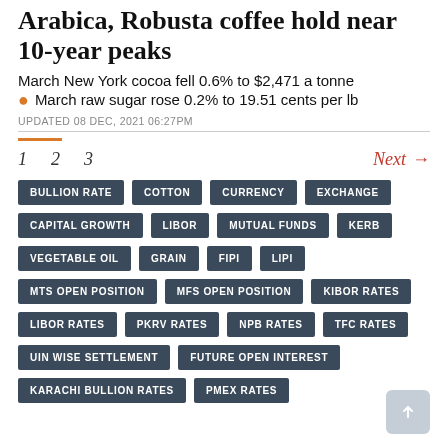Arabica, Robusta coffee hold near 10-year peaks
March New York cocoa fell 0.6% to $2,471 a tonne
March raw sugar rose 0.2% to 19.51 cents per lb
UPDATED 08 DEC, 2021 06:27PM
1  2  3  Next →
BULLION RATE | COTTON | CURRENCY | EXCHANGE | CAPITAL GROWTH | LIBOR | MUTUAL FUNDS | KERB | VEGETABLE OIL | GRAIN | FIPI | LIPI | MTS OPEN POSITION | MFS OPEN POSITION | KIBOR RATES | LIBOR RATES | PKRV RATES | NPB RATES | TFC RATES | UIN WISE SETTLEMENT | FUTURE OPEN INTEREST | KARACHI BULLION RATES | PMEX RATES